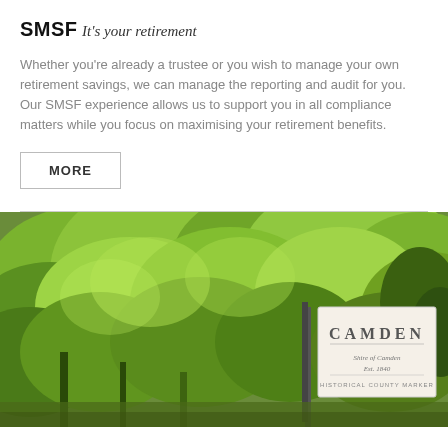SMSF
It's your retirement
Whether you're already a trustee or you wish to manage your own retirement savings, we can manage the reporting and audit for you. Our SMSF experience allows us to support you in all compliance matters while you focus on maximising your retirement benefits.
MORE
[Figure (photo): Outdoor photo showing lush green trees and a Camden sign on a post in the foreground]